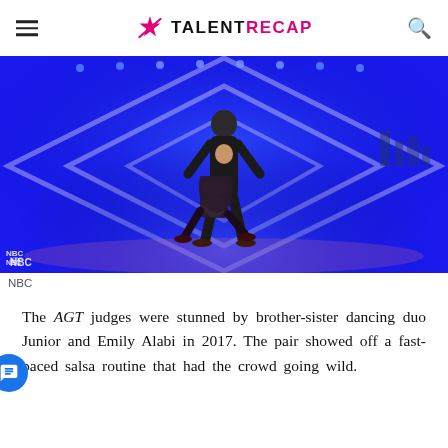TALENTRECAP
[Figure (photo): Two dancers on the AGT stage — a tall male dancer standing upright in a black costume with a cutout, and a female dancer bent backward in front of him, wearing a sparkly black costume. The stage background features bright blue lighting with large diamond/chevron geometric shapes.]
NBC
The AGT judges were stunned by brother-sister dancing duo Junior and Emily Alabi in 2017. The pair showed off a fast-paced salsa routine that had the crowd going wild.